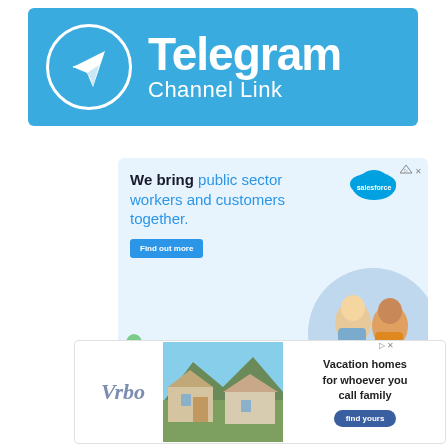[Figure (logo): Telegram Channel Link banner with Telegram logo icon (paper plane in circle) and text 'Telegram Channel Link' on blue background]
[Figure (illustration): Salesforce advertisement: 'We bring public sector workers and customers together.' with Find out more button, Salesforce cloud logo, circular photo of two people working on laptop, and mascot characters]
[Figure (photo): Vrbo advertisement: Vrbo logo, photo of vacation home with mountains, text 'Vacation homes for whoever you call family' and 'find yours' button]